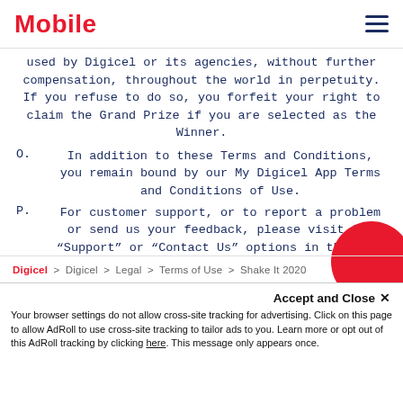Mobile
used by Digicel or its agencies, without further compensation, throughout the world in perpetuity. If you refuse to do so, you forfeit your right to claim the Grand Prize if you are selected as the Winner.
O.    In addition to these Terms and Conditions, you remain bound by our My Digicel App Terms and Conditions of Use.
P.    For customer support, or to report a problem or send us your feedback, please visit the “Support” or “Contact Us” options in the App.
Digicel > Digicel > Legal > Terms of Use > Shake It 2020
Accept and Close ×
Your browser settings do not allow cross-site tracking for advertising. Click on this page to allow AdRoll to use cross-site tracking to tailor ads to you. Learn more or opt out of this AdRoll tracking by clicking here. This message only appears once.